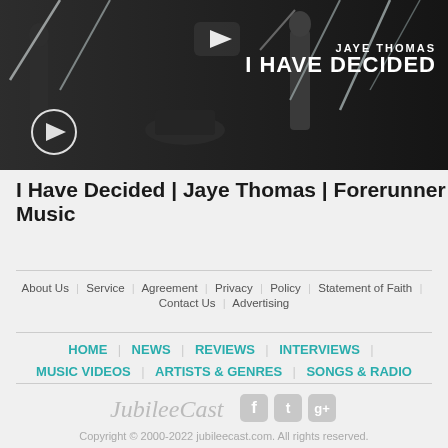[Figure (screenshot): Video thumbnail showing two musicians on a dark stage with diagonal light beams. Text overlay reads 'JAYE THOMAS' and 'I HAVE DECIDED'. Play button icons visible.]
I Have Decided | Jaye Thomas | Forerunner Music
About Us | Service | Agreement | Privacy | Policy | Statement of Faith | Contact Us | Advertising
HOME | NEWS | REVIEWS | INTERVIEWS | MUSIC VIDEOS | ARTISTS & GENRES | SONGS & RADIO
JubileeCast  [social icons]  Copyright © 2000-2022 jubileecast.com. All rights reserved.